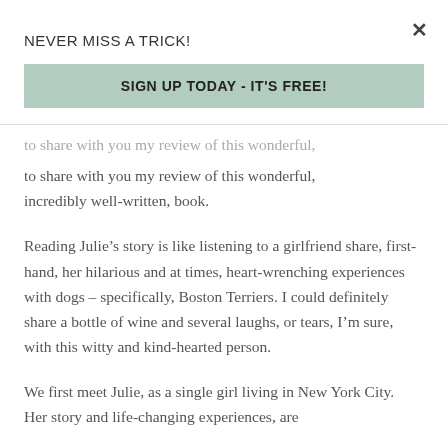NEVER MISS A TRICK!
SIGN UP TODAY - IT'S FREE!
to share with you my review of this wonderful, incredibly well-written, book.
Reading Julie’s story is like listening to a girlfriend share, first-hand, her hilarious and at times, heart-wrenching experiences with dogs – specifically, Boston Terriers. I could definitely share a bottle of wine and several laughs, or tears, I’m sure, with this witty and kind-hearted person.
We first meet Julie, as a single girl living in New York City.  Her story and life-changing experiences, are